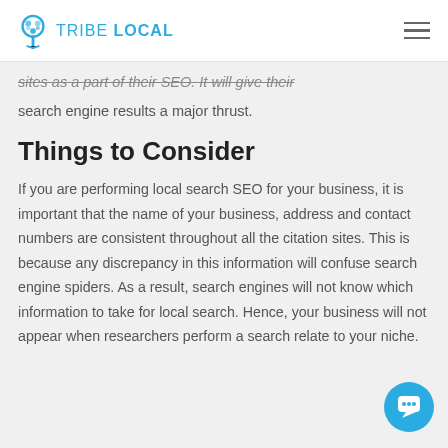TRIBE LOCAL
sites as a part of their SEO. It will give their search engine results a major thrust.
Things to Consider
If you are performing local search SEO for your business, it is important that the name of your business, address and contact numbers are consistent throughout all the citation sites. This is because any discrepancy in this information will confuse search engine spiders. As a result, search engines will not know which information to take for local search. Hence, your business will not appear when researchers perform a search related to your niche.